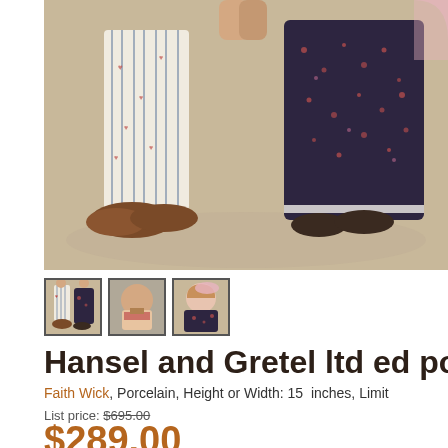[Figure (photo): Close-up photo of two porcelain dolls (Hansel and Gretel) from the waist down. The boy doll wears striped pants with small heart prints and brown shoes. The girl doll wears a dark floral dress with a lace hem and dark shoes. Beige/neutral background.]
[Figure (photo): Three thumbnail images of the Hansel and Gretel porcelain dolls from different angles.]
Hansel and Gretel ltd ed por
Faith Wick, Porcelain, Height or Width: 15 inches, Limit
List price: $695.00
$289.00